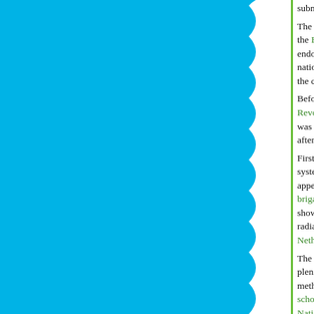[Figure (illustration): Blue background panel on the left side with white scalloped/cloud-like edge on the right, separated from the text by a green vertical line.]
submissive Church, despoiled of her revenues, he... The Peace of Amiens (25 March 1802) with Engla... the Batavian Republic, paid all the costs, finally ga... endowing himself with a Consulate, not for ten yea... nation. The Rubicon was crossed on that day: Bo... the constitution of the year X (August 1802). Before all things it was now necessary to reorgani... Revolution, and with her institutions in a state of u... was at once revealed to all the foreigners who rus... after so many catastrophes and strange adventur... First of all the Consulate improved Louis XV's sys... system of canals; then industry put its shoulder to... appeared everywhere, from the frontiers to the ca... brigandage[?] and beautified Paris, the city of citie... shows and parades; and in this new Rome of a ne... radiance of art and learning from the age of Pericl... Netherlands, Italy and Egypt illustrated the consul... The "Man of Destiny" renewed the course of time... plenipotentiaries; its over-centralised, strictly utilita... methods; and afterwards, in order to bring them in... scholasticism of its university. On the basis laid do... National Convention he constructed or consolidate... institutions, local governments, a judiciary system... traditions of conscientious well-disciplined labour,... three-quarters of a century was to maintain and re...